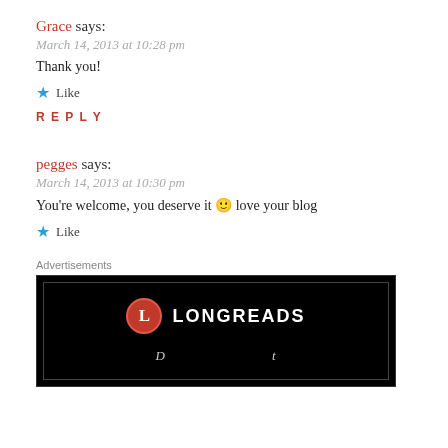Grace says:
March 14, 2013 at 10:28 pm
Thank you!
★ Like
REPLY
pegges says:
March 14, 2013 at 10:30 pm
You're welcome, you deserve it 🙂 love your blog
★ Like
Advertisements
[Figure (logo): Longreads logo on black background with red circular L icon and white LONGREADS text, with partial text below]